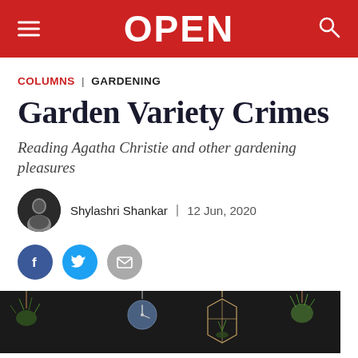OPEN
COLUMNS | GARDENING
Garden Variety Crimes
Reading Agatha Christie and other gardening pleasures
Shylashri Shankar  |  12 Jun, 2020
[Figure (illustration): Dark background illustration of hanging potted plants, geometric terrariums, a clock, and various succulents and ferns hanging from strings/macrame holders]
[Figure (other): Social sharing buttons: Facebook (blue circle), Twitter (light blue circle), Email (grey circle)]